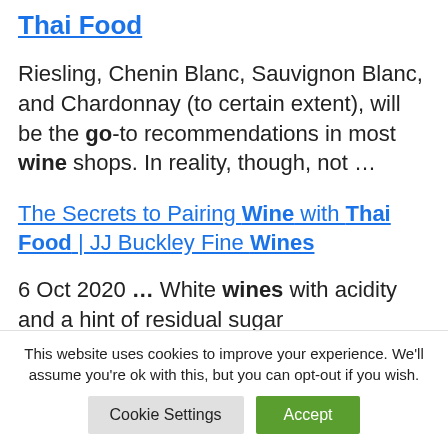Thai Food
Riesling, Chenin Blanc, Sauvignon Blanc, and Chardonnay (to certain extent), will be the go-to recommendations in most wine shops. In reality, though, not …
The Secrets to Pairing Wine with Thai Food | JJ Buckley Fine Wines
6 Oct 2020 … White wines with acidity and a hint of residual sugar
This website uses cookies to improve your experience. We'll assume you're ok with this, but you can opt-out if you wish. Cookie Settings Accept